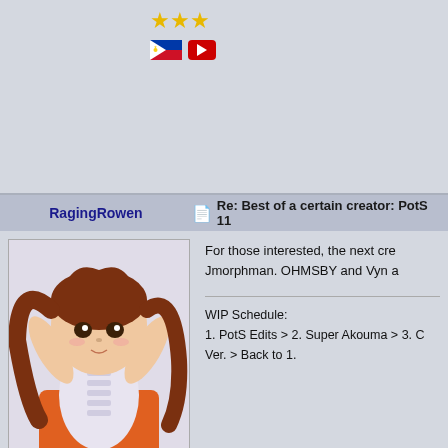[Figure (illustration): Anime avatar image (partially visible at top) with three gold stars and Philippine flag + YouTube icon below]
RagingRowen | Re: Best of a certain creator: PotS 11
[Figure (illustration): Anime girl with brown hair, white blouse, orange outfit]
Formerly known as HyperClawManiac
Reject Modernity, Embrace Tradition.
For those interested, the next cre Jmorphman. OHMSBY and Vyn a
WIP Schedule:
1. PotS Edits > 2. Super Akouma > 3. C Ver. > Back to 1.